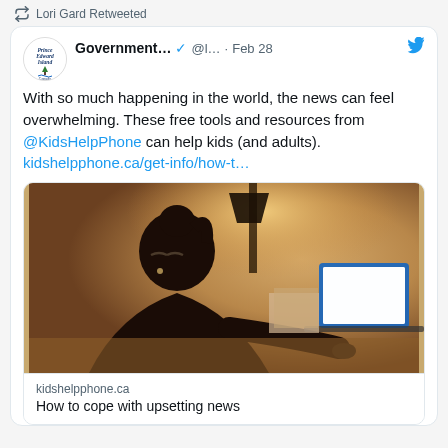Lori Gard Retweeted
Government... @l... · Feb 28
With so much happening in the world, the news can feel overwhelming. These free tools and resources from @KidsHelpPhone can help kids (and adults).
kidshelpphone.ca/get-info/how-t...
[Figure (photo): Person viewed from behind sitting at a desk using a laptop, warm ambient lighting in the background]
kidshelpphone.ca
How to cope with upsetting news